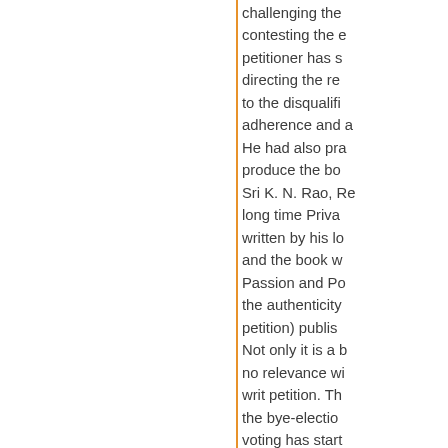challenging the contesting the e petitioner has s directing the re to the disqualifi adherence and a He had also pra produce the bo Sri K. N. Rao, Re long time Priva written by his lo and the book w Passion and Po the authenticity petition) publis Not only it is a b no relevance wi writ petition. Th the bye-electio voting has start